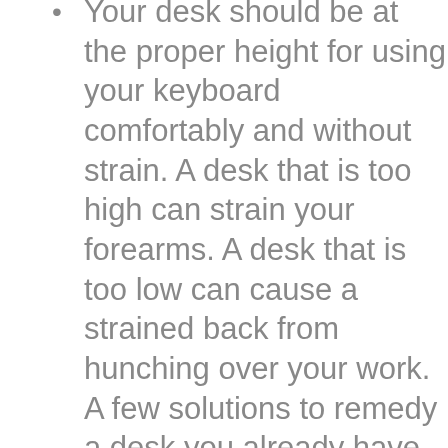Your desk should be at the proper height for using your keyboard comfortably and without strain. A desk that is too high can strain your forearms. A desk that is too low can cause a strained back from hunching over your work. A few solutions to remedy a desk you already have can be as simple as attaching a keyboard tray under your desk if it's too high, or raising your chair to allow your arms to be parallel to the floor.
A keyboard mouse that fits comfortably in your hand and that is easy to move around the mousepad without difficulty. Your mouse and keyboard should be at a